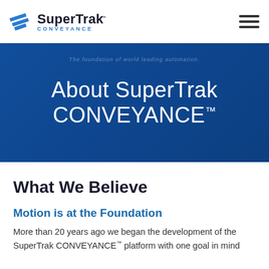[Figure (logo): SuperTrak Conveyance logo with blue diagonal stripe icon and text]
[Figure (illustration): Blue hero banner with text 'About SuperTrak CONVEYANCE™' overlaid on a dark blue background showing industrial automation equipment]
About SuperTrak CONVEYANCE™
What We Believe
Motion is at the Foundation
More than 20 years ago we began the development of the SuperTrak CONVEYANCE™ platform with one goal in mind